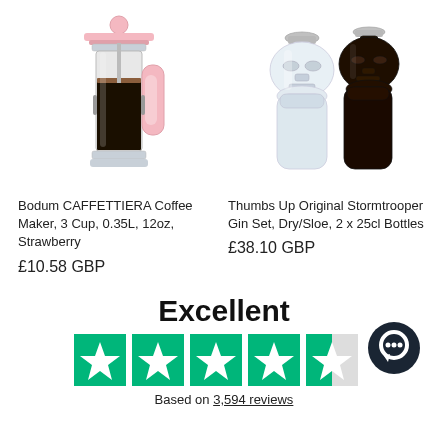[Figure (photo): Pink Bodum CAFFETTIERA French press coffee maker with chrome accents, pink handle and lid knob, filled with coffee]
[Figure (photo): Two Stormtrooper-shaped gin bottles - one clear/empty and one dark filled, with silver screw caps]
Bodum CAFFETTIERA Coffee Maker, 3 Cup, 0.35L, 12oz, Strawberry
£10.58 GBP
Thumbs Up Original Stormtrooper Gin Set, Dry/Sloe, 2 x 25cl Bottles
£38.10 GBP
Excellent
[Figure (infographic): Trustpilot 4.5-star rating with 5 green star icons (last one half filled)]
Based on 3,594 reviews